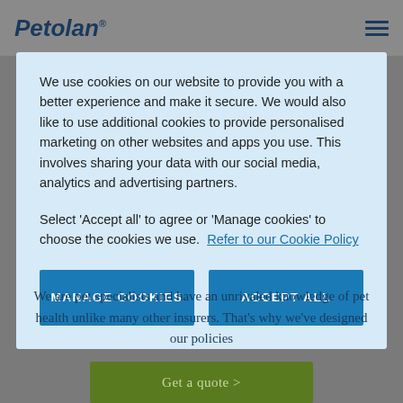Petolan
We use cookies on our website to provide you with a better experience and make it secure. We would also like to use additional cookies to provide personalised marketing on other websites and apps you use. This involves sharing your data with our social media, analytics and advertising partners.
Select 'Accept all' to agree or 'Manage cookies' to choose the cookies we use. Refer to our Cookie Policy
MANAGE COOKIES
ACCEPT ALL
We are pet specialists and have an unrivaled knowledge of pet health unlike many other insurers. That's why we've designed our policies
Get a quote >